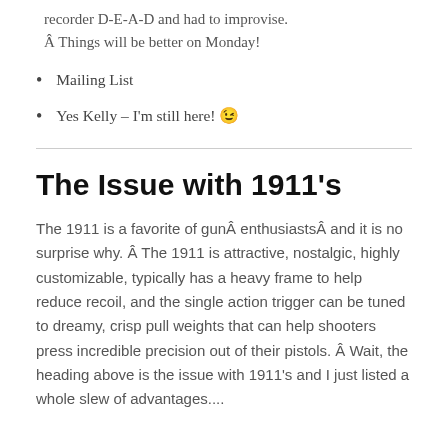recorder D-E-A-D and had to improvise. Â Things will be better on Monday!
Mailing List
Yes Kelly – I'm still here! 😉
The Issue with 1911's
The 1911 is a favorite of gunÂ enthusiastsÂ and it is no surprise why. Â The 1911 is attractive, nostalgic, highly customizable, typically has a heavy frame to help reduce recoil, and the single action trigger can be tuned to dreamy, crisp pull weights that can help shooters press incredible precision out of their pistols. Â Wait, the heading above is the issue with 1911's and I just listed a whole slew of advantages....